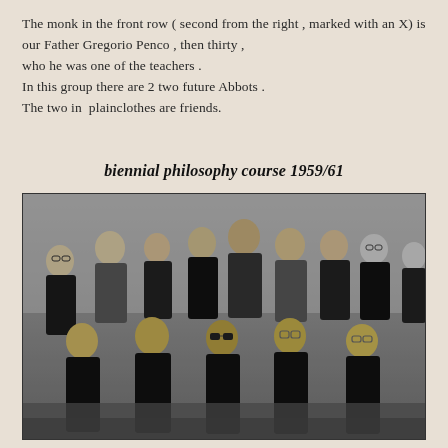The monk in the front row ( second from the right , marked with an X) is our Father Gregorio Penco , then thirty , who he was one of the teachers . In this group there are 2 two future Abbots . The two in  plainclothes are friends.
biennial philosophy course 1959/61
[Figure (photo): Black and white group photograph of monks and individuals, some in black robes and some in plainclothes, posed in two rows for a biennial philosophy course 1959/61.]